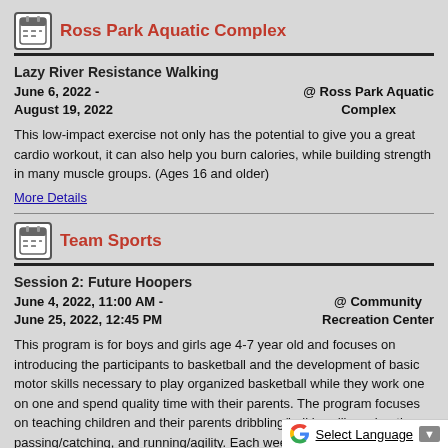Ross Park Aquatic Complex
Lazy River Resistance Walking
June 6, 2022 - August 19, 2022 @ Ross Park Aquatic Complex
This low-impact exercise not only has the potential to give you a great cardio workout, it can also help you burn calories, while building strength in many muscle groups. (Ages 16 and older)
More Details
Team Sports
Session 2: Future Hoopers
June 4, 2022, 11:00 AM - June 25, 2022, 12:45 PM @ Community Recreation Center
This program is for boys and girls age 4-7 year old and focuses on introducing the participants to basketball and the development of basic motor skills necessary to play organized basketball while they work one on one and spend quality time with their parents. The program focuses on teaching children and their parents dribbling/ball handling, shooting, passing/catching, and running/agility. Each week the exercises become increasingly difficult as the class progresses. There are no design coaches. Parents are required to parti...
Select Language